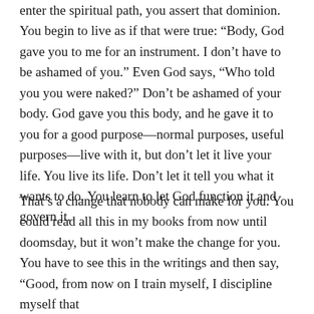enter the spiritual path, you assert that dominion. You begin to live as if that were true: “Body, God gave you to me for an instrument. I don’t have to be ashamed of you.” Even God says, “Who told you you were naked?” Don’t be ashamed of your body. God gave you this body, and he gave it to you for a good purpose—normal purposes, useful purposes—live with it, but don’t let it live your life. You live its life. Don’t let it tell you what it wants to do. You learn to let God function it and govern it.
That’s a change that nobody can make for you. You could read all this in my books from now until doomsday, but it won’t make the change for you. You have to see this in the writings and then say, “Good, from now on I train myself, I discipline myself that